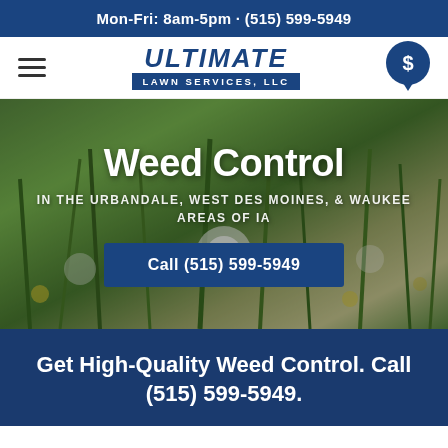Mon-Fri: 8am-5pm · (515) 599-5949
[Figure (logo): Ultimate Lawn Services, LLC logo with hamburger menu and dollar sign chat button]
[Figure (photo): Background photo of dandelion weeds in a lawn with green grass, overlaid with hero text and call button]
Weed Control
IN THE URBANDALE, WEST DES MOINES, & WAUKEE AREAS OF IA
Call (515) 599-5949
Get High-Quality Weed Control. Call (515) 599-5949.